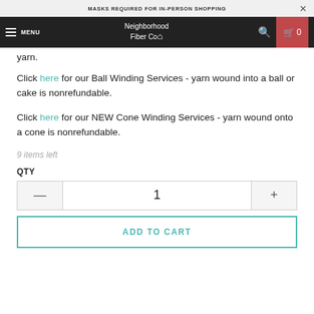MASKS REQUIRED FOR IN-PERSON SHOPPING
MENU | Neighborhood Fiber Co | 0
yarn.
Click here for our Ball Winding Services - yarn wound into a ball or cake is nonrefundable.
Click here for our NEW Cone Winding Services - yarn wound onto a cone is nonrefundable.
9 items left
QTY
1
ADD TO CART